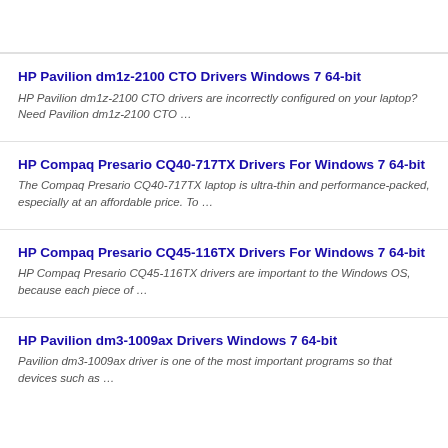HP Pavilion dm1z-2100 CTO Drivers Windows 7 64-bit
HP Pavilion dm1z-2100 CTO drivers are incorrectly configured on your laptop? Need Pavilion dm1z-2100 CTO …
HP Compaq Presario CQ40-717TX Drivers For Windows 7 64-bit
The Compaq Presario CQ40-717TX laptop is ultra-thin and performance-packed, especially at an affordable price. To …
HP Compaq Presario CQ45-116TX Drivers For Windows 7 64-bit
HP Compaq Presario CQ45-116TX drivers are important to the Windows OS, because each piece of …
HP Pavilion dm3-1009ax Drivers Windows 7 64-bit
Pavilion dm3-1009ax driver is one of the most important programs so that devices such as …